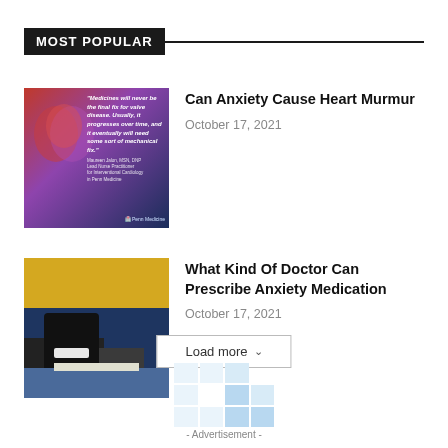MOST POPULAR
[Figure (photo): Medical illustration showing a heart with quote overlay about valve disease from Penn Medicine]
Can Anxiety Cause Heart Murmur
October 17, 2021
[Figure (photo): Doctor in dark clothing standing at a desk with papers, blue background]
What Kind Of Doctor Can Prescribe Anxiety Medication
October 17, 2021
Load more
- Advertisement -